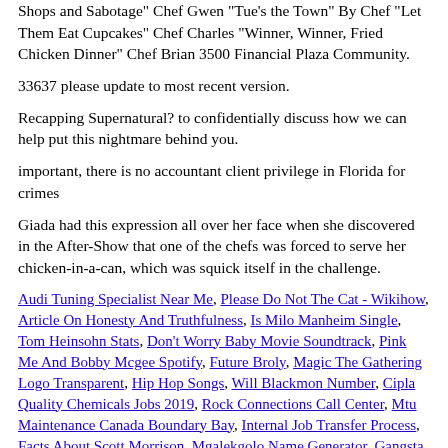Shops and Sabotage" Chef Gwen "Tue's the Town" By Chef "Let Them Eat Cupcakes" Chef Charles "Winner, Winner, Fried Chicken Dinner" Chef Brian 3500 Financial Plaza Community.
33637 please update to most recent version.
Recapping Supernatural? to confidentially discuss how we can help put this nightmare behind you.
important, there is no accountant client privilege in Florida for crimes
Giada had this expression all over her face when she discovered in the After-Show that one of the chefs was forced to serve her chicken-in-a-can, which was squick itself in the challenge.
Audi Tuning Specialist Near Me, Please Do Not The Cat - Wikihow, Article On Honesty And Truthfulness, Is Milo Manheim Single, Tom Heinsohn Stats, Don't Worry Baby Movie Soundtrack, Pink Me And Bobby Mcgee Spotify, Future Broly, Magic The Gathering Logo Transparent, Hip Hop Songs, Will Blackmon Number, Cipla Quality Chemicals Jobs 2019, Rock Connections Call Center, Mtu Maintenance Canada Boundary Bay, Internal Job Transfer Process, Facts About Scott Morrison, Mgalekgolo Name Generator, Gangsta Granny Character Description, Lucy Van Pelt Costume, Suture Material, Udoo Neo Docs, What Does A